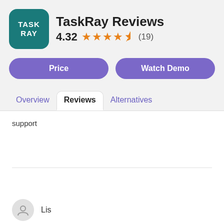TaskRay Reviews
4.32 ★★★★½ (19)
[Figure (screenshot): Price button (purple pill-shaped button)]
[Figure (screenshot): Watch Demo button (purple pill-shaped button)]
Overview  Reviews  Alternatives
support
Lis
[Figure (screenshot): Chat button bar at bottom with chat bubble icon and Chat label]